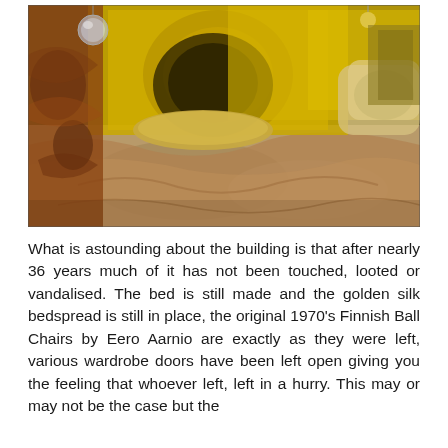[Figure (photo): Interior bedroom photo showing a bed with golden/yellow silk bedspread, decorative golden headboard with ornate design, hanging glass globe lights, and various pillows and items. The room has a warm golden-yellow color tone.]
What is astounding about the building is that after nearly 36 years much of it has not been touched, looted or vandalised. The bed is still made and the golden silk bedspread is still in place, the original 1970's Finnish Ball Chairs by Eero Aarnio are exactly as they were left, various wardrobe doors have been left open giving you the feeling that whoever left, left in a hurry. This may or may not be the case but the